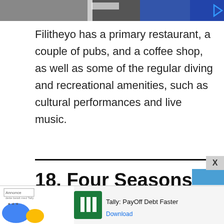[Figure (screenshot): Top banner image showing a partial screenshot of a website header with blue and dark elements and a play button icon]
Filitheyo has a primary restaurant, a couple of pubs, and a coffee shop, as well as some of the regular diving and recreational amenities, such as cultural performances and live music.
18. Four Seasons Resort Maldives
Four Seasons, located in the North Male
[Figure (screenshot): Bottom advertisement banner for Tally: PayOff Debt Faster app with Annonce label, colorful logo graphics, Tally app icon in green, and Download link in blue]